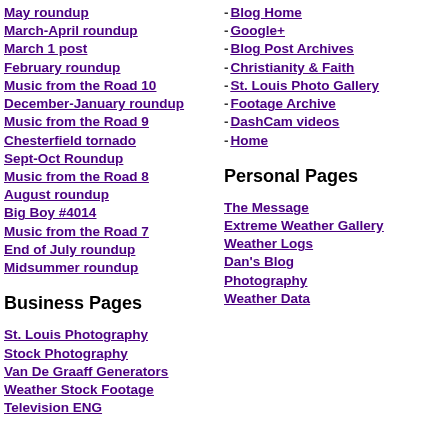May roundup
March-April roundup
March 1 post
February roundup
Music from the Road 10
December-January roundup
Music from the Road 9
Chesterfield tornado
Sept-Oct Roundup
Music from the Road 8
August roundup
Big Boy #4014
Music from the Road 7
End of July roundup
Midsummer roundup
- Blog Home
- Google+
- Blog Post Archives
- Christianity & Faith
- St. Louis Photo Gallery
- Footage Archive
- DashCam videos
- Home
Business Pages
Personal Pages
St. Louis Photography
Stock Photography
Van De Graaff Generators
Weather Stock Footage
Television ENG
The Message
Extreme Weather Gallery
Weather Logs
Dan's Blog
Photography
Weather Data